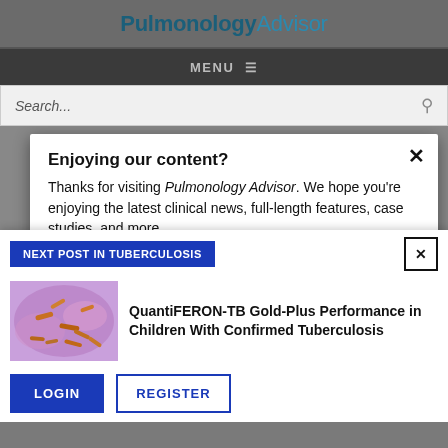PulmonologyAdvisor
MENU ≡
Search...
Enjoying our content?
Thanks for visiting Pulmonology Advisor. We hope you're enjoying the latest clinical news, full-length features, case studies, and more.
NEXT POST IN TUBERCULOSIS
[Figure (photo): Microscope image of tuberculosis bacteria on pink/purple tissue background]
QuantiFERON-TB Gold-Plus Performance in Children With Confirmed Tuberculosis
LOGIN   REGISTER